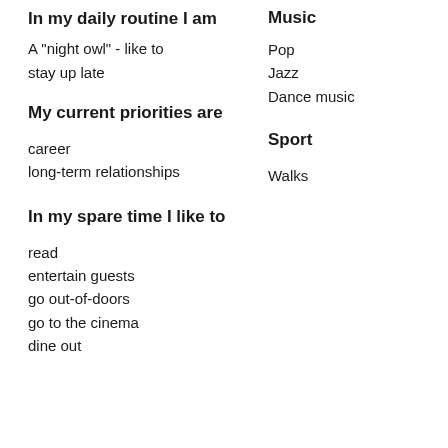In my daily routine I am
A "night owl" - like to stay up late
My current priorities are
career
long-term relationships
In my spare time I like to
read
entertain guests
go out-of-doors
go to the cinema
dine out
Music
Pop
Jazz
Dance music
Sport
Walks